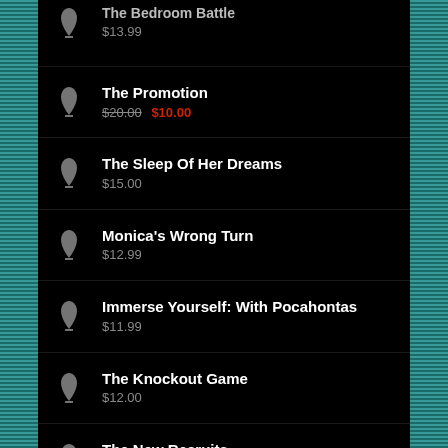The Bedroom Battle $13.99
The Promotion $20.00 $10.00
The Sleep Of Her Dreams $15.00
Monica's Wrong Turn $12.99
Immerse Yourself: With Pocahontas $11.99
The Knockout Game $12.00
The New Recruits (partial)